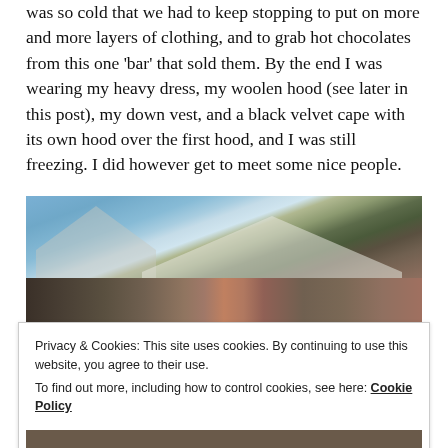was so cold that we had to keep stopping to put on more and more layers of clothing, and to grab hot chocolates from this one 'bar' that sold them. By the end I was wearing my heavy dress, my woolen hood (see later in this post), my down vest, and a black velvet cape with its own hood over the first hood, and I was still freezing. I did however get to meet some nice people.
[Figure (photo): Outdoor medieval fair or market scene with large white tents in the background and a crowd of people gathered in an outdoor field setting.]
Privacy & Cookies: This site uses cookies. By continuing to use this website, you agree to their use.
To find out more, including how to control cookies, see here: Cookie Policy
[Figure (photo): Another outdoor scene, partially visible at the bottom of the page.]